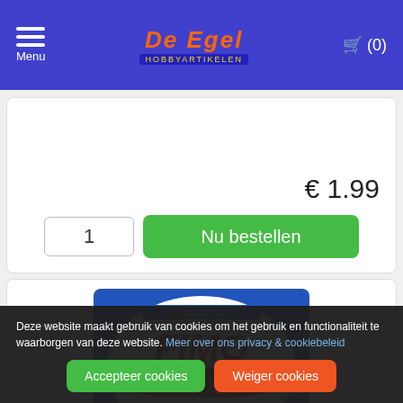De Egel Hobbyartikelen — Menu | Cart (0)
€ 1.99
1  Nu bestellen
[Figure (photo): FIMO kids polymer clay product packaging — Staedtler brand, blue box with FIMO kids logo in red and yellow]
Deze website maakt gebruik van cookies om het gebruik en functionaliteit te waarborgen van deze website. Meer over ons privacy & cookiebeleid
Accepteer cookies  Weiger cookies